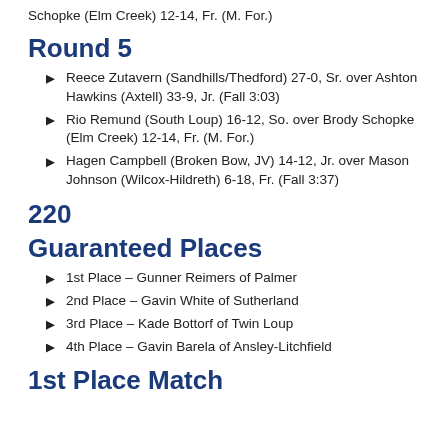Schopke (Elm Creek) 12-14, Fr. (M. For.)
Round 5
Reece Zutavern (Sandhills/Thedford) 27-0, Sr. over Ashton Hawkins (Axtell) 33-9, Jr. (Fall 3:03)
Rio Remund (South Loup) 16-12, So. over Brody Schopke (Elm Creek) 12-14, Fr. (M. For.)
Hagen Campbell (Broken Bow, JV) 14-12, Jr. over Mason Johnson (Wilcox-Hildreth) 6-18, Fr. (Fall 3:37)
220
Guaranteed Places
1st Place – Gunner Reimers of Palmer
2nd Place – Gavin White of Sutherland
3rd Place – Kade Bottorf of Twin Loup
4th Place – Gavin Barela of Ansley-Litchfield
1st Place Match